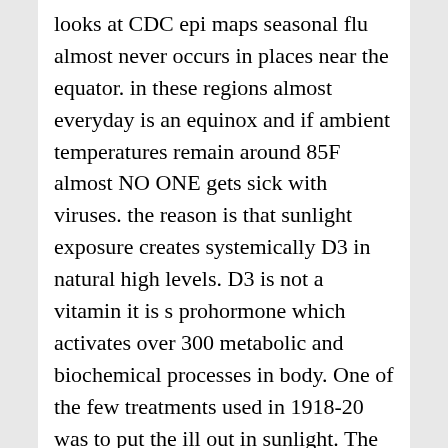looks at CDC epi maps seasonal flu almost never occurs in places near the equator. in these regions almost everyday is an equinox and if ambient temperatures remain around 85F almost NO ONE gets sick with viruses. the reason is that sunlight exposure creates systemically D3 in natural high levels. D3 is not a vitamin it is s prohormone which activates over 300 metabolic and biochemical processes in body. One of the few treatments used in 1918-20 was to put the ill out in sunlight. The israelis have found this past year the virus dies if exposed to even artificial LED light frequencies at a certain level. This is not likely a cure but prophylactic one of several reasons africa has been spared